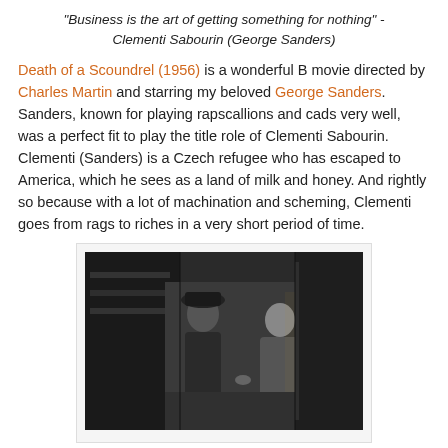"Business is the art of getting something for nothing" - Clementi Sabourin (George Sanders)
Death of a Scoundrel (1956) is a wonderful B movie directed by Charles Martin and starring my beloved George Sanders. Sanders, known for playing rapscallions and cads very well, was a perfect fit to play the title role of Clementi Sabourin. Clementi (Sanders) is a Czech refugee who has escaped to America, which he sees as a land of milk and honey. And rightly so because with a lot of machination and scheming, Clementi goes from rags to riches in a very short period of time.
[Figure (photo): Black and white movie still showing two men facing each other in a dimly lit room, one wearing a hat and suit, the other in a robe.]